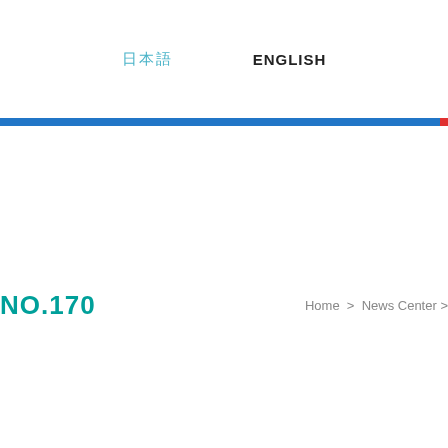日本語　ENGLISH
NO.170
Home > News Center >